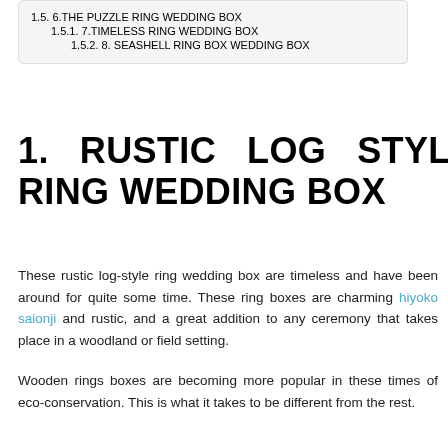1.5. 6.THE PUZZLE RING WEDDING BOX
1.5.1. 7.TIMELESS RING WEDDING BOX
1.5.2. 8. SEASHELL RING BOX WEDDING BOX
1. RUSTIC LOG STYLE RING WEDDING BOX
These rustic log-style ring wedding box are timeless and have been around for quite some time. These ring boxes are charming hiyoko saionji and rustic, and a great addition to any ceremony that takes place in a woodland or field setting.
Wooden rings boxes are becoming more popular in these times of eco-conservation. This is what it takes to be different from the rest.